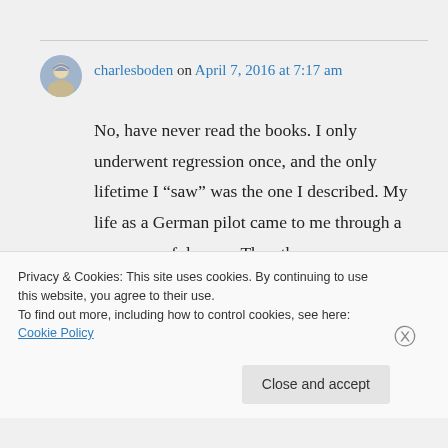charlesboden on April 7, 2016 at 7:17 am
No, have never read the books. I only underwent regression once, and the only lifetime I “saw” was the one I described. My life as a German pilot came to me through a sequence of dreams. The other
Privacy & Cookies: This site uses cookies. By continuing to use this website, you agree to their use.
To find out more, including how to control cookies, see here: Cookie Policy
Close and accept